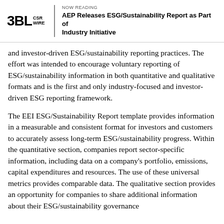NOW READING | AEP Releases ESG/Sustainability Report as Part of Industry Initiative
and investor-driven ESG/sustainability reporting practices. The effort was intended to encourage voluntary reporting of ESG/sustainability information in both quantitative and qualitative formats and is the first and only industry-focused and investor-driven ESG reporting framework.
The EEI ESG/Sustainability Report template provides information in a measurable and consistent format for investors and customers to accurately assess long-term ESG/sustainability progress. Within the quantitative section, companies report sector-specific information, including data on a company's portfolio, emissions, capital expenditures and resources. The use of these universal metrics provides comparable data. The qualitative section provides an opportunity for companies to share additional information about their ESG/sustainability governance